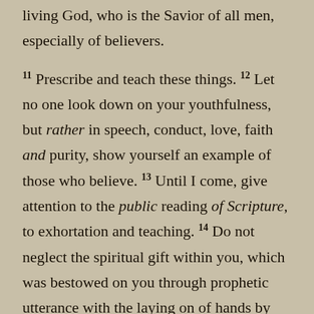living God, who is the Savior of all men, especially of believers. 11 Prescribe and teach these things. 12 Let no one look down on your youthfulness, but rather in speech, conduct, love, faith and purity, show yourself an example of those who believe. 13 Until I come, give attention to the public reading of Scripture, to exhortation and teaching. 14 Do not neglect the spiritual gift within you, which was bestowed on you through prophetic utterance with the laying on of hands by the presbytery. 15 Take pains with these things; be absorbed in them, so that your progress will be evident to all. 16 Pay close attention to yourself and to your teaching, persevere in these things, for as you